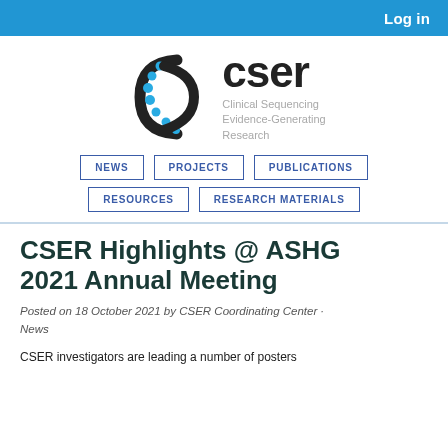Log in
[Figure (logo): CSER logo: DNA double helix graphic in black and blue dots, with 'cser' wordmark and subtitle 'Clinical Sequencing Evidence-Generating Research']
NEWS
PROJECTS
PUBLICATIONS
RESOURCES
RESEARCH MATERIALS
CSER Highlights @ ASHG 2021 Annual Meeting
Posted on 18 October 2021 by CSER Coordinating Center · News
CSER investigators are leading a number of posters